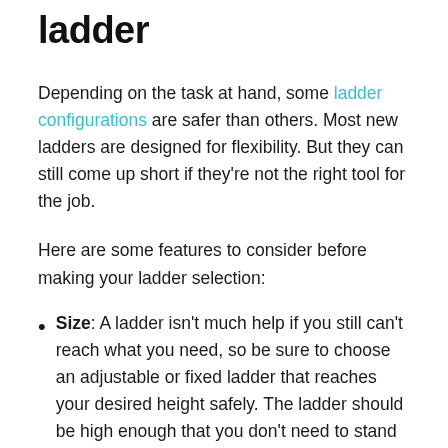ladder
Depending on the task at hand, some ladder configurations are safer than others. Most new ladders are designed for flexibility. But they can still come up short if they're not the right tool for the job.
Here are some features to consider before making your ladder selection:
Size: A ladder isn't much help if you still can't reach what you need, so be sure to choose an adjustable or fixed ladder that reaches your desired height safely. The ladder should be high enough that you don't need to stand on the top rung or step. Just be aware that the larger the